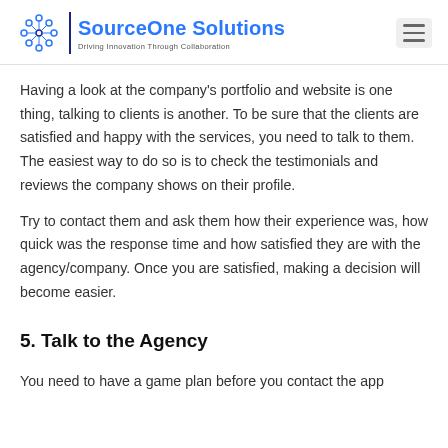SourceOne Solutions — Driving Innovation Through Collaboration
Having a look at the company's portfolio and website is one thing, talking to clients is another. To be sure that the clients are satisfied and happy with the services, you need to talk to them. The easiest way to do so is to check the testimonials and reviews the company shows on their profile.
Try to contact them and ask them how their experience was, how quick was the response time and how satisfied they are with the agency/company. Once you are satisfied, making a decision will become easier.
5. Talk to the Agency
You need to have a game plan before you contact the app